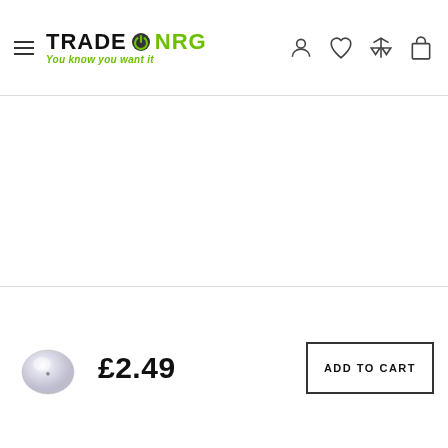[Figure (logo): Trade NRG logo with power button icon and tagline 'You know you want it' in green]
[Figure (photo): Product image area (blank/white) for a small silver/crystal bead product]
[Figure (photo): Small product thumbnail: silver/crystal decorative bead]
£2.49
ADD TO CART